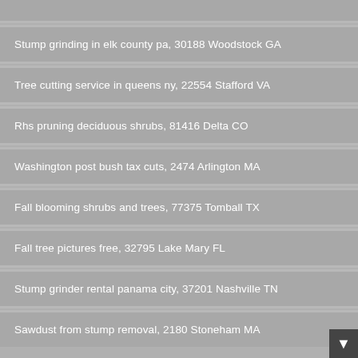(partial item at top — cropped)
Stump grinding in elk county pa, 30188 Woodstock GA
Tree cutting service in queens ny, 22554 Stafford VA
Rhs pruning deciduous shrubs, 81416 Delta CO
Washington post bush tax cuts, 2474 Arlington MA
Fall blooming shrubs and trees, 77375 Tomball TX
Fall tree pictures free, 32795 Lake Mary FL
Stump grinder rental panama city, 37201 Nashville TN
Sawdust from stump removal, 2180 Stoneham MA